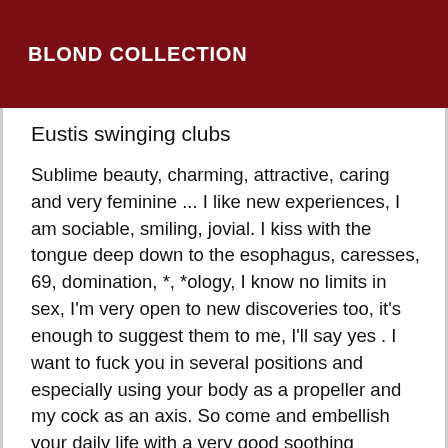BLOND COLLECTION
Eustis swinging clubs
Sublime beauty, charming, attractive, caring and very feminine ... I like new experiences, I am sociable, smiling, jovial. I kiss with the tongue deep down to the esophagus, caresses, 69, domination, *, *ology, I know no limits in sex, I'm very open to new discoveries too, it's enough to suggest them to me, I'll say yes . I want to fuck you in several positions and especially using your body as a propeller and my cock as an axis. So come and embellish your daily life with a very good soothing massage, a magical moment of relaxation, well-being, escape and relaxation in my company ... ♥Mes rates are 100* per * hour and 150* per hour, and if you give me 200* I transform myself into a fountain of thick and hot sperm until my balls are completely dry... And I invite you to spend exceptional moments, of exchanges in the greatest discretion and mutual respect... And the